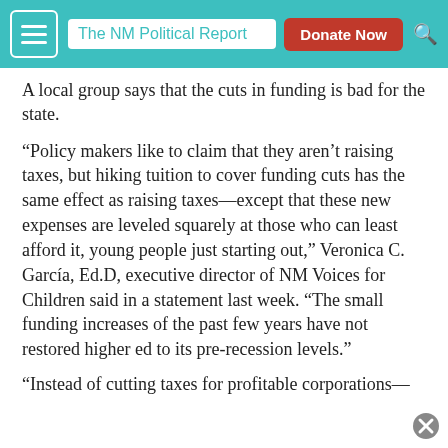The NM Political Report | Donate Now
A local group says that the cuts in funding is bad for the state.
“Policy makers like to claim that they aren’t raising taxes, but hiking tuition to cover funding cuts has the same effect as raising taxes—except that these new expenses are leveled squarely at those who can least afford it, young people just starting out,” Veronica C. García, Ed.D, executive director of NM Voices for Children said in a statement last week. “The small funding increases of the past few years have not restored higher ed to its pre-recession levels.”
“Instead of cutting taxes for profitable corporations—